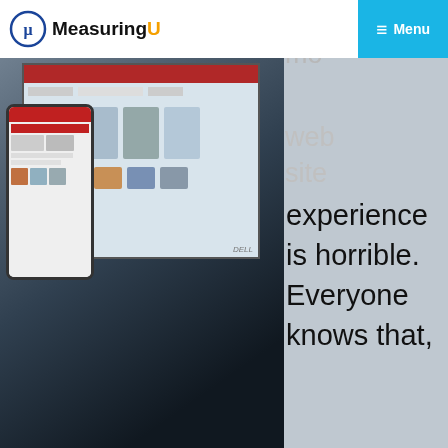[Figure (screenshot): MeasuringU website header with logo and Menu button, with a photo of a smartphone next to a laptop showing a website]
The typical mobile website experience is horrible. Everyone knows that,
This website stores cookies on your computer. These cookies are used to improve your website experience and provide more personalized services to you, both on this website and through other media. To find out more about the cookies we use, see our Privacy Policy.
We won't track your information when you visit our site. But in order to comply with your preferences, we'll have to use just one tiny cookie so that you're not asked to make this choice again.
Accept
Decline